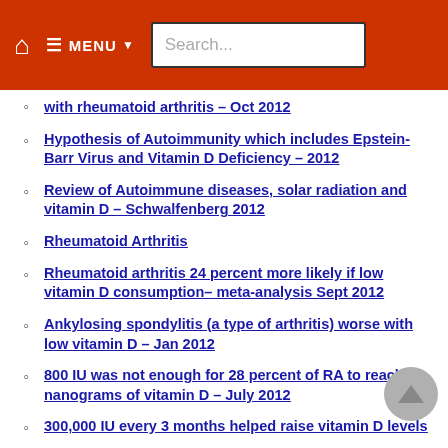MENU | Search...
with rheumatoid arthritis – Oct 2012
Hypothesis of Autoimmunity which includes Epstein-Barr Virus and Vitamin D Deficiency – 2012
Review of Autoimmune diseases, solar radiation and vitamin D – Schwalfenberg 2012
Rheumatoid Arthritis
Rheumatoid arthritis 24 percent more likely if low vitamin D consumption– meta-analysis Sept 2012
Ankylosing spondylitis (a type of arthritis) worse with low vitamin D – Jan 2012
800 IU was not enough for 28 percent of RA to reach 20 nanograms of vitamin D – July 2012
300,000 IU every 3 months helped raise vitamin D levels